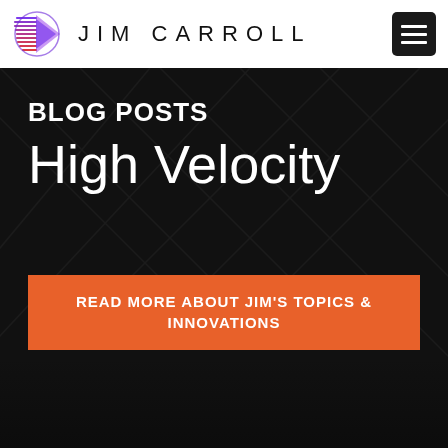JIM CARROLL
[Figure (screenshot): Website screenshot showing Jim Carroll blog posts page with 'High Velocity' hero banner and orange CTA button reading 'READ MORE ABOUT JIM'S TOPICS & INNOVATIONS']